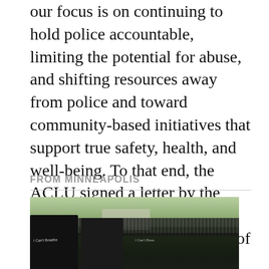our focus is on continuing to hold police accountable, limiting the potential for abuse, and shifting resources away from police and toward community-based initiatives that support true safety, health, and well-being. To that end, the ACLU signed a letter by the Movement for Black Lives (M4BL) calling for defunding of police and reinvestment in communities.
FROM MINNEAPOLIS
[Figure (photo): Crowd scene photographed from behind two people wearing black 'I Can't Breathe' shirts, overlooking a large outdoor gathering with trees and a building in the background.]